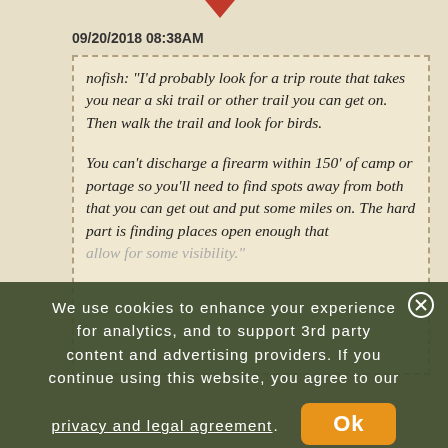09/20/2018 08:38AM
nofish: "I'd probably look for a trip route that takes you near a ski trail or other trail you can get on. Then walk the trail and look for birds.

You can't discharge a firearm within 150' of camp or portage so you'll need to find spots away from both that you can get out and put some miles on. The hard part is finding places open enough that allow for some visibility."
We use cookies to enhance your experience for analytics, and to support 3rd party content and advertising providers. If you continue using this website, you agree to our privacy and legal agreement.